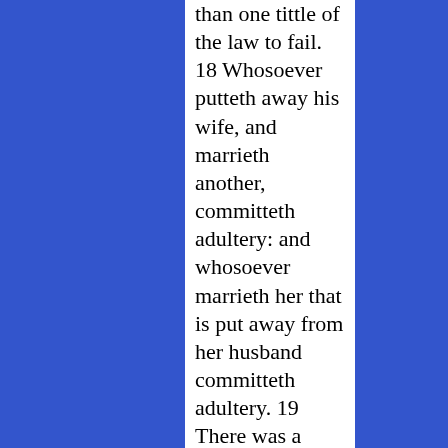than one tittle of the law to fail. 18 Whosoever putteth away his wife, and marrieth another, committeth adultery: and whosoever marrieth her that is put away from her husband committeth adultery. 19 There was a certain rich man, which was clothed in purple and fine linen, and fared sumptuously every day: 20 And there was a certain beggar named Lazarus, which